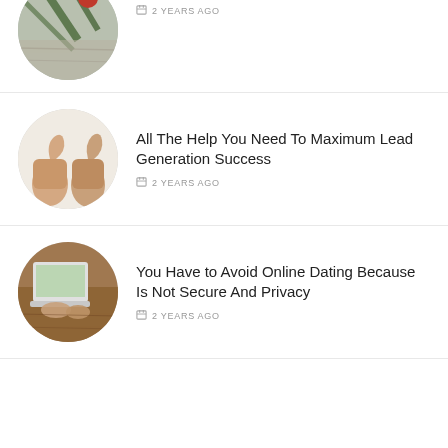[Figure (photo): Circular thumbnail of Christmas/holiday decoration with pine branches and red ornament ball on wooden background, partially cropped at top]
2 YEARS AGO
[Figure (photo): Circular thumbnail showing two thumbs up hand gestures]
All The Help You Need To Maximum Lead Generation Success
2 YEARS AGO
[Figure (photo): Circular thumbnail of person sitting at a laptop/tablet on a wooden desk, viewed from above]
You Have to Avoid Online Dating Because Is Not Secure And Privacy
2 YEARS AGO